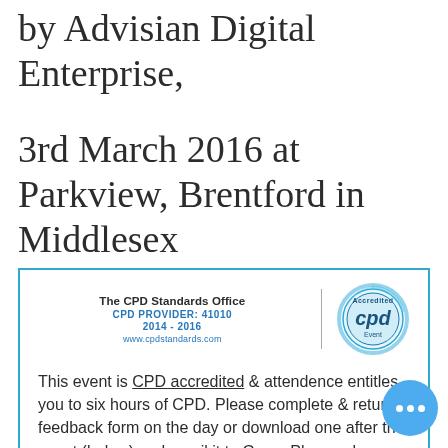by Advisian Digital Enterprise,
3rd March 2016 at Parkview, Brentford in Middlesex
[Figure (logo): CPD Standards Office accredited logo with text: The CPD Standards Office, CPD PROVIDER: 41010, 2014 - 2016, www.cpdstandards.com, and a circular blue CPD Accredited Event badge]
This event is CPD accredited & attendence entitles you to six hours of CPD. Please complete & return a feedback form on the day or download one after the event (below) and email it to Gerry. Please also email Gerry to request a CPD certificate (her email address is on